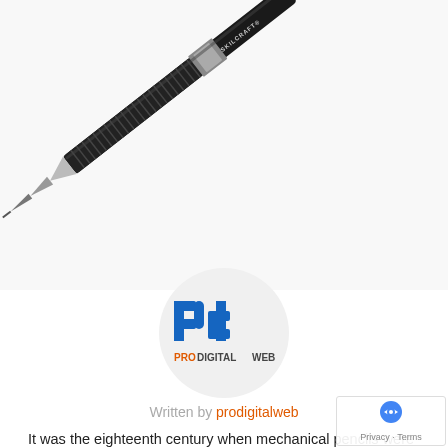[Figure (photo): Close-up photograph of a black SKILCRAFT mechanical pencil positioned diagonally from upper-right to lower-left, showing the textured grip and metal tip.]
[Figure (logo): ProDigitalWeb logo: circular avatar with 'Pd' letters in blue and an orange/grey 'PRODIGITALWEB' text below.]
Written by prodigitalweb
It was the eighteenth century when mechanical pencils were used for the first time. As the days have gone, the new designs came gradually. Nowadays, we can get a mechanical pencil in many designs. Writers, designers and students use it mainly.